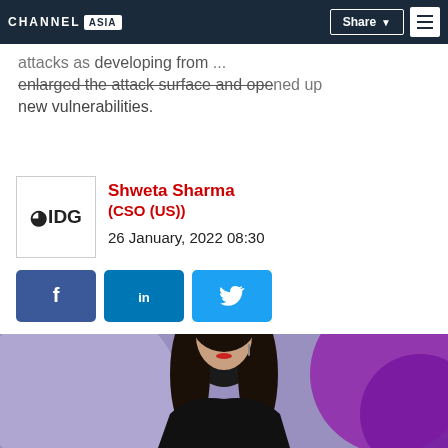CHANNEL ASIA | Share | Menu
attacks as... developing from... enlarged the attack surface and opened up... new vulnerabilities.
Shweta Sharma
(CSO (US))
26 January, 2022 08:30
[Figure (other): Social share buttons: Facebook, LinkedIn, Twitter]
[Figure (photo): Woman with long dark hair speaking on stage with a microphone headset, wearing a black top, against a purple/magenta background]